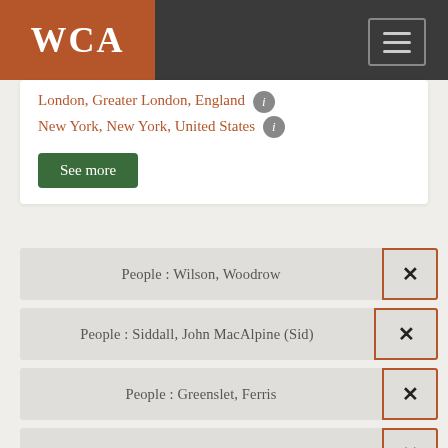WCA
London, Greater London, England
New York, New York, United States
See more
People : Wilson, Woodrow
People : Siddall, John MacAlpine (Sid)
People : Greenslet, Ferris
Subcategory : Letters
Creator : Willa Cather
Year : 1919